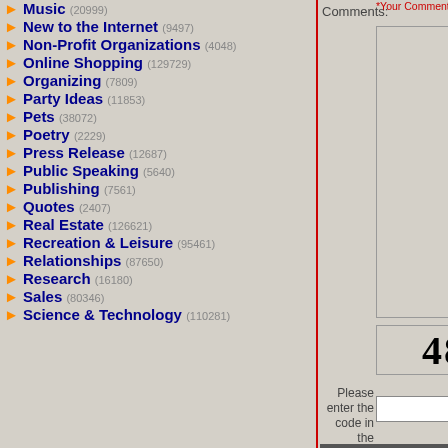Music (20999)
New to the Internet (9497)
Non-Profit Organizations (4048)
Online Shopping (129729)
Organizing (7809)
Party Ideas (11853)
Pets (38072)
Poetry (2229)
Press Release (12687)
Public Speaking (5640)
Publishing (7561)
Quotes (2407)
Real Estate (126621)
Recreation & Leisure (95461)
Relationships (87650)
Research (16180)
Sales (80346)
Science & Technology (110281)
Comments:
*Your Comments WILL be posted to the AUTHO PUBLIC PAGE if you select PUBLIC, so write ac
[Figure (screenshot): Text comment input area (textarea)]
[Figure (screenshot): CAPTCHA image showing the number 484240]
Please enter the code in the image:
[Figure (screenshot): Text input field for captcha code entry]
Submit